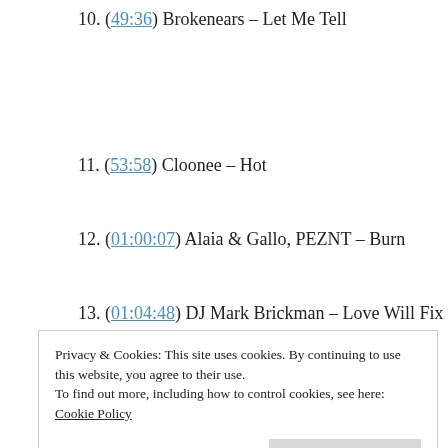10. (49:36) Brokenears – Let Me Tell
11. (53:58) Cloonee – Hot
12. (01:00:07) Alaia & Gallo, PEZNT – Burn
13. (01:04:48) DJ Mark Brickman – Love Will Fix
Privacy & Cookies: This site uses cookies. By continuing to use this website, you agree to their use.
To find out more, including how to control cookies, see here: Cookie Policy
Higher